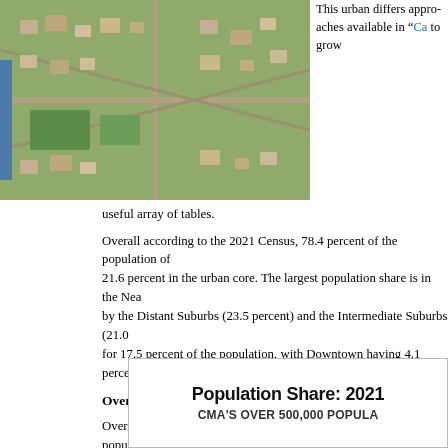[Figure (photo): Aerial photograph of a suburban/urban area showing residential neighborhoods, green spaces, and roads from above.]
This urban differs approaches available in “Ca to grow
useful array of tables.
Overall according to the 2021 Census, 78.4 percent of the population of 21.6 percent in the urban core. The largest population share is in the Nea by the Distant Suburbs (23.5 percent) and the Intermediate Suburbs (21.0 for 17.5 percent of the population, with Downtown having 4.1 percent.
Overall Population and Growth 2016-2021
Overall according to the 2021 Census, 78.4 percent of the population of 21.6 percent in the urban core. The largest population share is in the Nea by the Distant Suburbs (23.5 percent) and the Intermediate Suburbs (21.0 for 17.5 percent of the population, with Downtown having 4.1 percent (F
[Figure (other): Chart box with title 'Population Share: 2021' and subtitle 'CMA’S OVER 500,000 POPULA']